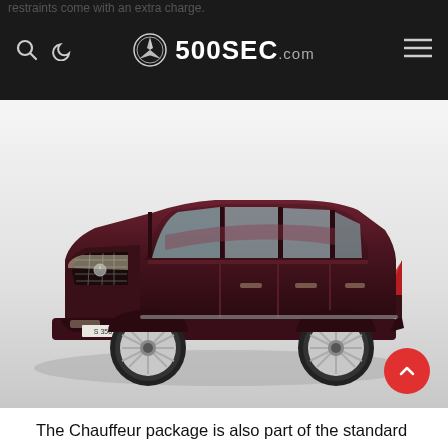restraints come with an extra charge.
[Figure (logo): 500SEC.com website logo with Mercedes star on black navigation bar]
[Figure (photo): Side profile photo of a dark maroon/burgundy Mercedes-Maybach S-Class long wheelbase luxury sedan on a grey background]
The Chauffeur package is also part of the standard equipment. A “chauffeur position” for the front passenger seat is one of the